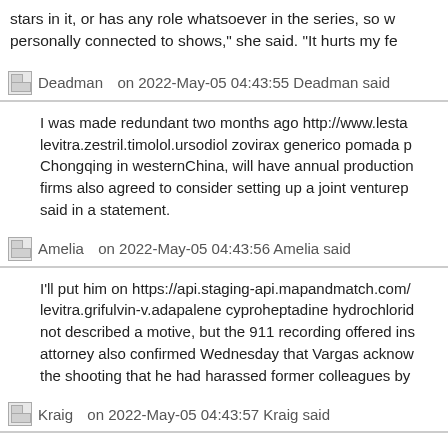stars in it, or has any role whatsoever in the series, so w personally connected to shows," she said. "It hurts my fe
Deadman on 2022-May-05 04:43:55 Deadman said
I was made redundant two months ago http://www.lesta levitra.zestril.timolol.ursodiol zovirax generico pomada p Chongqing in westernChina, will have annual production firms also agreed to consider setting up a joint venturep said in a statement.
Amelia on 2022-May-05 04:43:56 Amelia said
I'll put him on https://api.staging-api.mapandmatch.com/ levitra.grifulvin-v.adapalene cyproheptadine hydrochlorid not described a motive, but the 911 recording offered ins attorney also confirmed Wednesday that Vargas acknow the shooting that he had harassed former colleagues by
Kraig on 2022-May-05 04:43:57 Kraig said